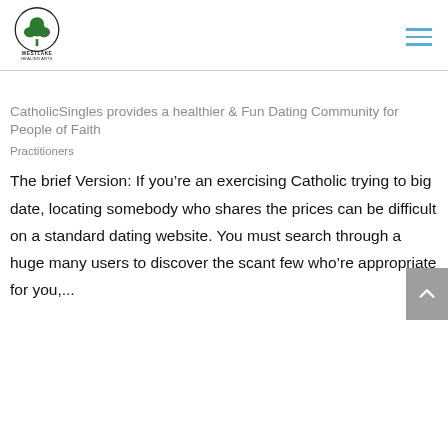[Figure (logo): Westlake Healing Arts logo with green tree inside a circle and text 'WESTLAKE HEALING ARTS' below]
CatholicSingles provides a healthier & Fun Dating Community for People of Faith
Practitioners
The brief Version: If you’re an exercising Catholic trying to big date, locating somebody who shares the prices can be difficult on a standard dating website. You must search through a huge many users to discover the scant few who’re appropriate for you,...